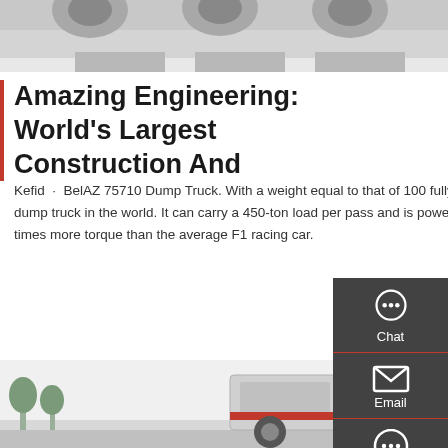[Figure (photo): Top portion of page showing large construction dump trucks from a low angle against a grey sky, partially cropped]
Amazing Engineering: World's Largest Construction And
Kefid · BelAZ 75710 Dump Truck. With a weight equal to that of 100 fully grown elephants, the BelAZ 75710 is by far the largest and heaviest dump truck in the world. It can carry a 450-ton load per pass and is powered by two 16-cylinder turbocharged engines capable of delivering 24 times more torque than the average F1 racing car.
Get a Quote
[Figure (photo): Bottom portion of page showing large construction machinery/dump truck in an outdoor setting with trees visible in background]